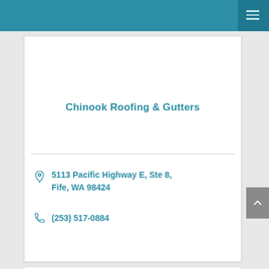Chinook Roofing & Gutters
5113 Pacific Highway E, Ste 8, Fife, WA 98424
(253) 517-0884